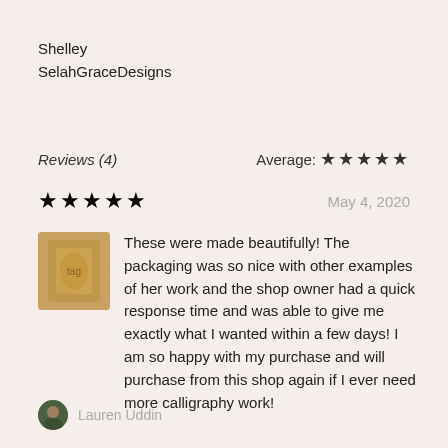Shelley
SelahGraceDesigns
Reviews (4)    Average: ★★★★★
★★★★★    May 4, 2020
These were made beautifully! The packaging was so nice with other examples of her work and the shop owner had a quick response time and was able to give me exactly what I wanted within a few days! I am so happy with my purchase and will purchase from this shop again if I ever need more calligraphy work!
Lauren Uddin